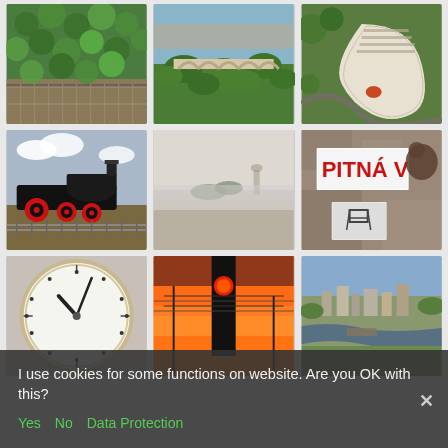[Figure (photo): Green ivy-covered stone wall with fence, outdoor scene]
[Figure (photo): Aerial view of city and aqueduct bridge surrounded by green trees]
[Figure (photo): Aerial view of curved building complex with roads]
[Figure (photo): Black steam locomotive on railway tracks under cloudy sky]
[Figure (photo): Foggy flat landscape with distant trees and tower]
[Figure (photo): Stone wall with sign reading PITNA V and a small enamel sign below]
[Figure (photo): Close-up of analog clock face with black hour and minute hands]
[Figure (photo): Red illuminated tower or chimney against orange sunset sky with power lines]
[Figure (photo): Aerial view of a city with river and harbour]
I use cookies for some functions on website. Are you OK with this?
Yes   No   Data Protection